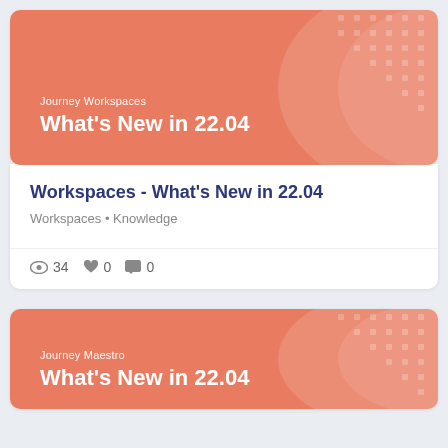[Figure (screenshot): Card banner with salmon/coral background showing 'Journey Workspaces' label and 'What's New in 22.04' title with decorative wave pattern on right]
Workspaces - What's New in 22.04
Workspaces • Knowledge
34  0  0
[Figure (screenshot): Second card banner with salmon/coral background showing 'Journey Maestro' label and 'What's New in 22.04' title with decorative wave pattern on right]